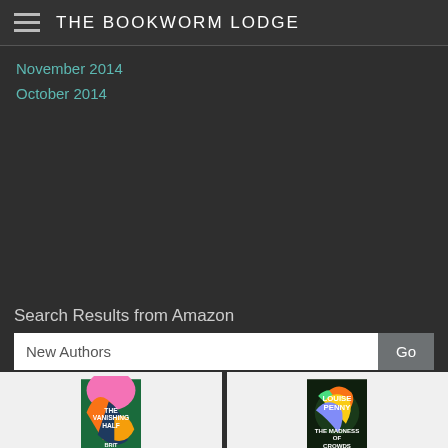THE BOOKWORM LODGE
November 2014
October 2014
Search Results from Amazon
New Authors
[Figure (illustration): Book cover: The Vanishing Half: A Novel by Brit Bennett — colorful abstract design with pink, orange, blue, and green shapes]
The Vanishing Half: A Novel
[Figure (illustration): Book cover: The Madness of Crowds: A Novel by Louise Penny — dark atmospheric cover with colorful foliage]
The Madness of Crowds: A Novel